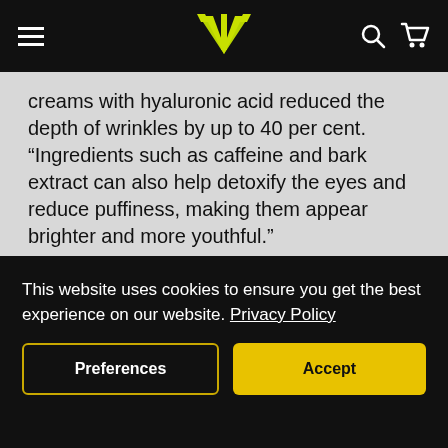Navigation header with hamburger menu, logo, search and cart icons
creams with hyaluronic acid reduced the depth of wrinkles by up to 40 per cent. “Ingredients such as caffeine and bark extract can also help detoxify the eyes and reduce puffiness, making them appear brighter and more youthful.”
DEPLOY THE RETINOIDS
This website uses cookies to ensure you get the best experience on our website. Privacy Policy
Preferences | Accept